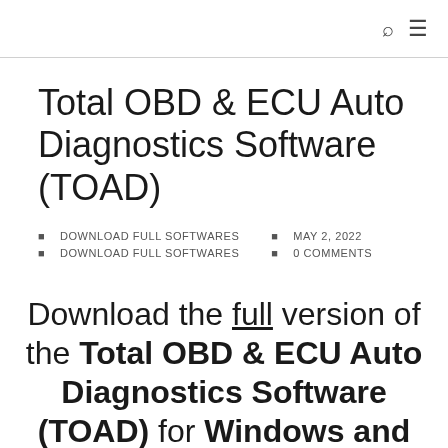🔍 ≡
Total OBD & ECU Auto Diagnostics Software (TOAD)
DOWNLOAD FULL SOFTWARES  MAY 2, 2022  DOWNLOAD FULL SOFTWARES  0 COMMENTS
Download the full version of the Total OBD & ECU Auto Diagnostics Software (TOAD) for Windows and Mac.